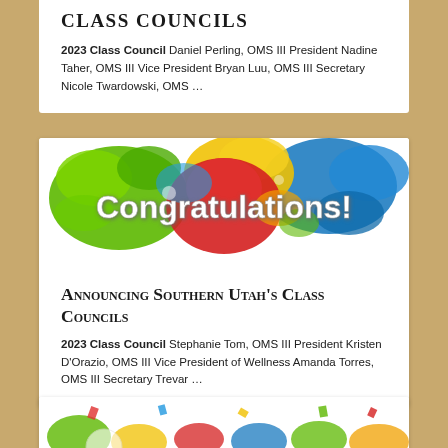CLASS COUNCILS
2023 Class Council Daniel Perling, OMS III President Nadine Taher, OMS III Vice President Bryan Luu, OMS III Secretary Nicole Twardowski, OMS …
[Figure (illustration): Colorful paint splash graphic with white text reading 'Congratulations!']
Announcing Southern Utah's Class Councils
2023 Class Council Stephanie Tom, OMS III President Kristen D'Orazio, OMS III Vice President of Wellness Amanda Torres, OMS III Secretary Trevar …
[Figure (illustration): Colorful confetti and celebration graphic (partially visible at bottom)]